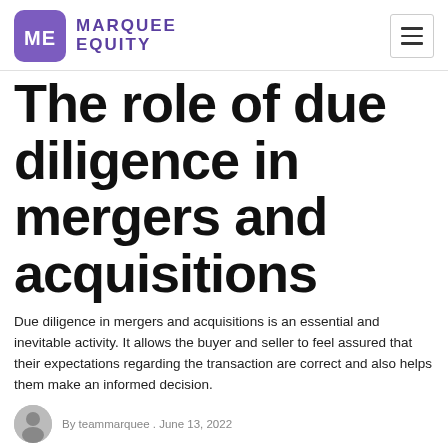Marquee Equity
The role of due diligence in mergers and acquisitions
Due diligence in mergers and acquisitions is an essential and inevitable activity. It allows the buyer and seller to feel assured that their expectations regarding the transaction are correct and also helps them make an informed decision.
By teammarquee . June 13, 2022